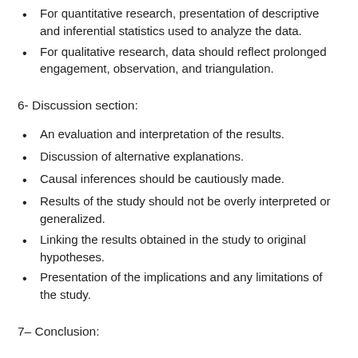For quantitative research, presentation of descriptive and inferential statistics used to analyze the data.
For qualitative research, data should reflect prolonged engagement, observation, and triangulation.
6- Discussion section:
An evaluation and interpretation of the results.
Discussion of alternative explanations.
Causal inferences should be cautiously made.
Results of the study should not be overly interpreted or generalized.
Linking the results obtained in the study to original hypotheses.
Presentation of the implications and any limitations of the study.
7– Conclusion: